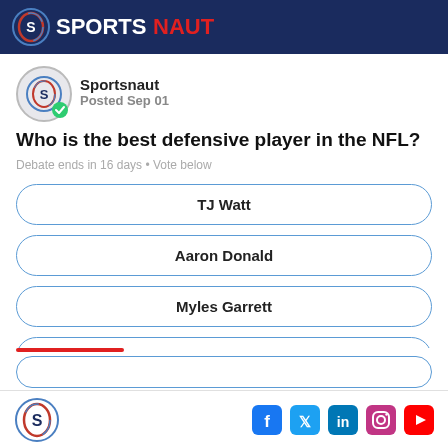SPORTSNAUT
Sportsnaut
Posted Sep 01
Who is the best defensive player in the NFL?
Debate ends in 16 days • Vote below
TJ Watt
Aaron Donald
Myles Garrett
Micah Parsons
Sportsnaut social icons: Facebook, Twitter, LinkedIn, Instagram, YouTube